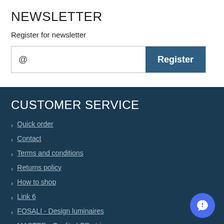NEWSLETTER
Register for newsletter
CUSTOMER SERVICE
Quick order
Contact
Terms and conditions
Returns policy
How to shop
Link 6
FOSALI - Design luminaires
MASTER - Quality LED strips
LEDeco - Corporate website
MY ACCOUNT